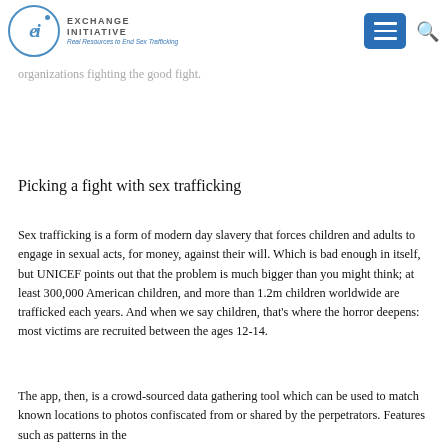Exchange Initiative — Real Resources to End Sex Trafficking
Available for both iOS and Android, the app is unlikely to win any design awards, but that isn't the point; the app makers are solving a tremendous problem and any tools available to help make some of this will be welcomed with open arms by the organizations fighting the good fight.
Picking a fight with sex trafficking
Sex trafficking is a form of modern day slavery that forces children and adults to engage in sexual acts, for money, against their will. Which is bad enough in itself, but UNICEF points out that the problem is much bigger than you might think; at least 300,000 American children, and more than 1.2m children worldwide are trafficked each years. And when we say children, that's where the horror deepens: most victims are recruited between the ages 12-14.
The app, then, is a crowd-sourced data gathering tool which can be used to match known locations to photos confiscated from or shared by the perpetrators. Features such as patterns in the